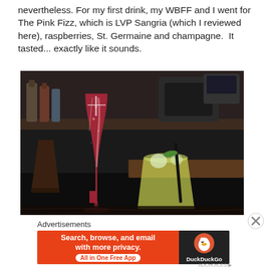nevertheless. For my first drink, my WBFF and I went for The Pink Fizz, which is LVP Sangria (which I reviewed here), raspberries, St. Germaine and champagne.  It tasted... exactly like it sounds.
[Figure (photo): Two cocktails on a dark bar counter: a tall champagne flute with a deep red/pink sparkling drink (The Pink Fizz) on the left, and a shorter wide glass with a pale yellow-green drink with a black straw and green garnish on the right. Bar bottles visible in background.]
Advertisements
[Figure (screenshot): DuckDuckGo advertisement banner: orange background on left with text 'Search, browse, and email with more privacy. All in One Free App', dark background on right with DuckDuckGo logo (duck icon) and 'DuckDuckGo' text.]